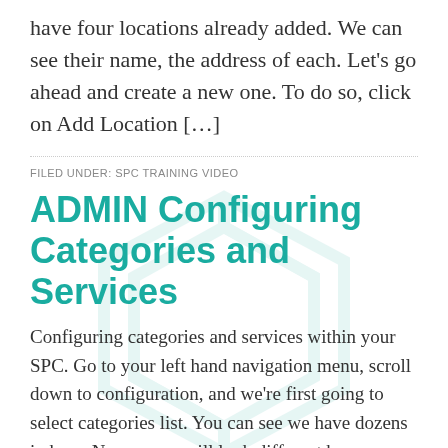have four locations already added. We can see their name, the address of each. Let's go ahead and create a new one. To do so, click on Add Location […]
FILED UNDER: SPC TRAINING VIDEO
ADMIN Configuring Categories and Services
Configuring categories and services within your SPC. Go to your left hand navigation menu, scroll down to configuration, and we're first going to select categories list. You can see we have dozens in here. Now, yours will look different because this is the SPC play sandbox that we allow clients to use and customizing […]